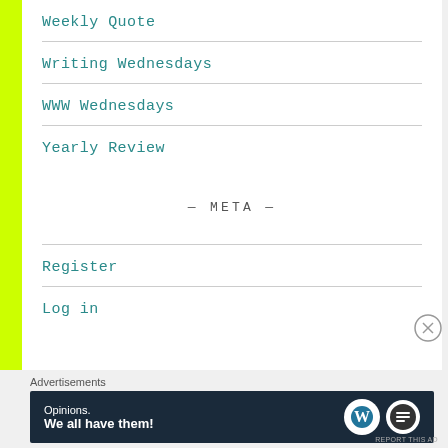Weekly Quote
Writing Wednesdays
WWW Wednesdays
Yearly Review
— META —
Register
Log in
Advertisements
[Figure (other): Advertisement banner: dark navy background with text 'Opinions. We all have them!' and WordPress and another logo on the right.]